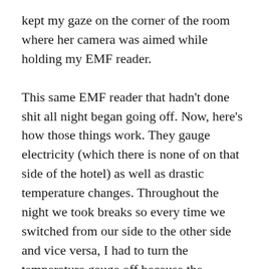kept my gaze on the corner of the room where her camera was aimed while holding my EMF reader.
This same EMF reader that hadn't done shit all night began going off. Now, here's how those things work. They gauge electricity (which there is none of on that side of the hotel) as well as drastic temperature changes. Throughout the night we took breaks so every time we switched from our side to the other side and vice versa, I had to turn the temperature gauge off because the difference in temperature between both rooms was nearly 20 degrees. When Becky was talking to whatever it was she could see on that infrared, I could not get the temperature gauge to turn off.